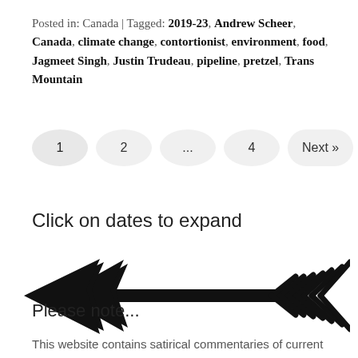Posted in: Canada | Tagged: 2019-23, Andrew Scheer, Canada, climate change, contortionist, environment, food, Jagmeet Singh, Justin Trudeau, pipeline, pretzel, Trans Mountain
1  2  ...  4  Next »
Click on dates to expand
[Figure (illustration): A decorative black arrow pointing left, with a detailed feathered tail on the right side and a broad arrowhead on the left.]
Please note...
This website contains satirical commentaries of current